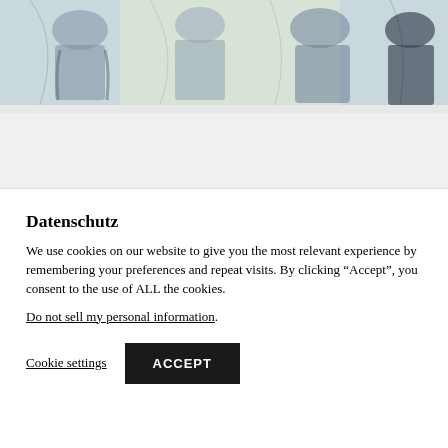[Figure (illustration): Partial view of a painted or drawn illustration showing figures in blue/grey tones against a light greenish-yellow background, cropped at top of page]
Datenschutz
We use cookies on our website to give you the most relevant experience by remembering your preferences and repeat visits. By clicking “Accept”, you consent to the use of ALL the cookies.
Do not sell my personal information.
Cookie settings  ACCEPT